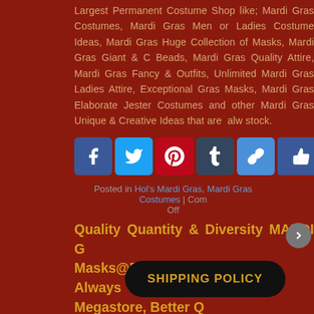Largest Permanent Costume Shop like; Mardi Gras Costumes, Mardi Gras Men or Ladies Costume Ideas, Mardi Gras Huge Collection of Masks, Mardi Gras Giant & Oversized Beads, Mardi Gras Quality Attire, Mardi Gras Fancy & Unique Outfits, Unlimited Mardi Gras Ladies Attire, Exceptional Mardi Gras Masks, Mardi Gras Elaborate Jester Costumes and many other Mardi Gras Unique & Creative Ideas that are always in stock.
[Figure (other): Social sharing buttons: Facebook, Twitter, Pinterest, Tumblr, Link, Like, and Share/Plus]
Posted in Hol's Mardi Gras, Mardi Gras Costumes | Comments Off
Quality Quantity & Diversity MARDI GRAS Masks@Dallas Vintage Always Mardi Gras Megastore, Better Q...
[Figure (other): SHIPPING POLICY black pill-shaped button overlay]